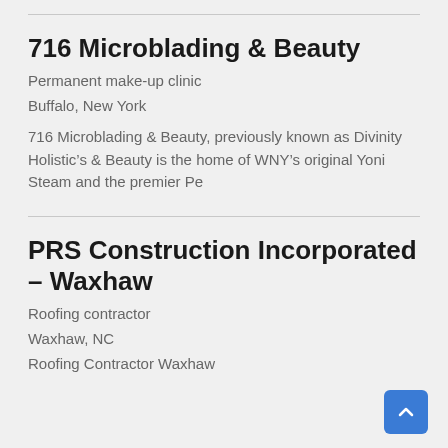716 Microblading & Beauty
Permanent make-up clinic
Buffalo, New York
716 Microblading & Beauty, previously known as Divinity Holistic’s & Beauty is the home of WNY’s original Yoni Steam and the premier Pe
PRS Construction Incorporated – Waxhaw
Roofing contractor
Waxhaw, NC
Roofing Contractor Waxhaw